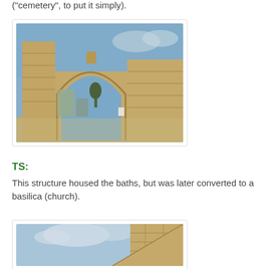("cemetery", to put it simply).
[Figure (photo): Ancient Roman ruins with a large stone arch gateway, constructed of limestone blocks, with ruins and trees visible in the background under a blue sky.]
TS:
This structure housed the baths, but was later converted to a basilica (church).
[Figure (photo): Partial view of ancient stone ruins against a blue sky with clouds, showing the upper edge of a large stone wall or structure.]